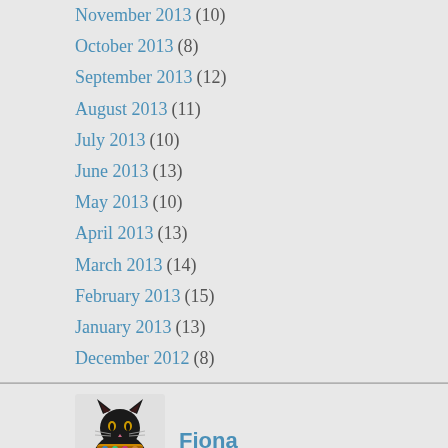November 2013 (10)
October 2013 (8)
September 2013 (12)
August 2013 (11)
July 2013 (10)
June 2013 (13)
May 2013 (10)
April 2013 (13)
March 2013 (14)
February 2013 (15)
January 2013 (13)
December 2012 (8)
[Figure (illustration): Black cat illustration with golden collar, Egyptian style avatar]
Fiona
A New Parliament
107 Years Ago . . .